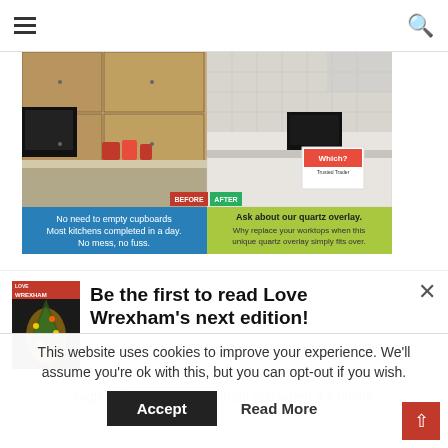Navigation bar with hamburger menu and search icon
[Figure (photo): Kitchen before/after advertisement showing kitchen worktop replacement. Left side shows old wooden kitchen with red items and black microwave, right side shows modern white kitchen. Text overlays: 'BEFORE' and 'AFTER' labels, 'No need to empty cupboards / Most kitchens completed in a day. / No mess, no fuss.' on blue background left, 'Ask about our quartz overlay. / Why replace your worktops when this unique quartz overlay simply fits over.' on green background right. Which? Trusted Trader badge on right.]
[Figure (photo): Love Wrexham magazine cover showing a Christmas tree with lights on dark background. Red and white header with 'LOVE WREXHAM' text.]
Be the first to read Love Wrexham's next edition!
Sign up here and we'll email you when it's online
This website uses cookies to improve your experience. We'll assume you're ok with this, but you can opt-out if you wish.